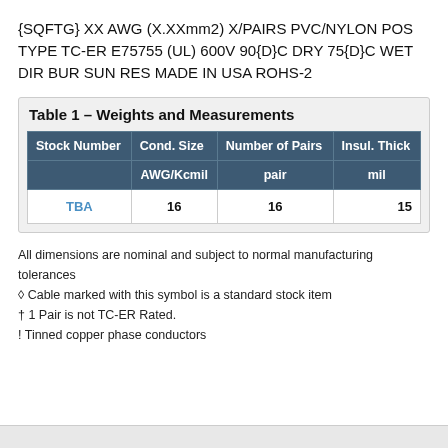{SQFTG} XX AWG (X.XXmm2) X/PAIRS PVC/NYLON POS TYPE TC-ER E75755 (UL) 600V 90{D}C DRY 75{D}C WET DIR BUR SUN RES MADE IN USA ROHS-2
Table 1 – Weights and Measurements
| Stock Number | Cond. Size | Number of Pairs | Insul. Thick |
| --- | --- | --- | --- |
|  | AWG/Kcmil | pair | mil |
| TBA | 16 | 16 | 15 |
All dimensions are nominal and subject to normal manufacturing tolerances
◊ Cable marked with this symbol is a standard stock item
† 1 Pair is not TC-ER Rated.
! Tinned copper phase conductors